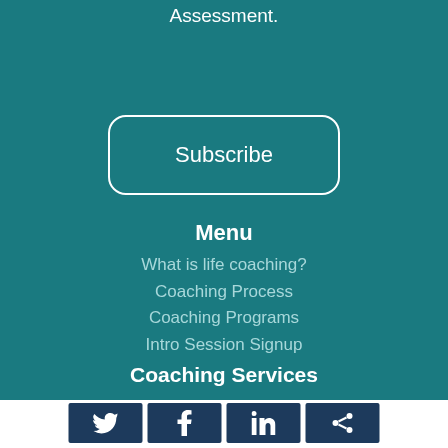Assessment.
Subscribe
Menu
What is life coaching?
Coaching Process
Coaching Programs
Intro Session Signup
Allison's Blog
Contact
Coaching Services
[Figure (other): Social media icons: Twitter, Facebook, LinkedIn, Share]